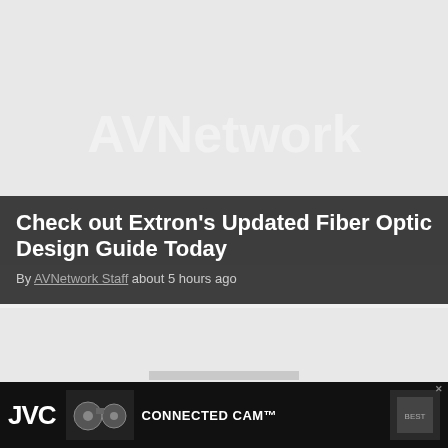[Figure (screenshot): AVNetwork logo watermark on light gray background]
Check out Extron's Updated Fiber Optic Design Guide Today
By AVNetwork Staff about 5 hours ago
[Figure (screenshot): Second article card with partial logo watermark on gray background]
Start Spreading the News... in the
[Figure (screenshot): JVC Connected Cam advertisement banner at bottom]